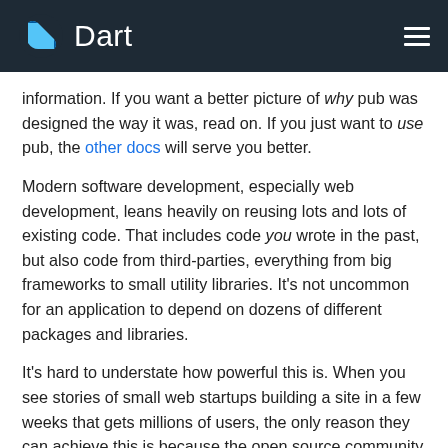Dart
information. If you want a better picture of why pub was designed the way it was, read on. If you just want to use pub, the other docs will serve you better.
Modern software development, especially web development, leans heavily on reusing lots and lots of existing code. That includes code you wrote in the past, but also code from third-parties, everything from big frameworks to small utility libraries. It’s not uncommon for an application to depend on dozens of different packages and libraries.
It’s hard to understate how powerful this is. When you see stories of small web startups building a site in a few weeks that gets millions of users, the only reason they can achieve this is because the open source community has laid a feast of software at their feet.